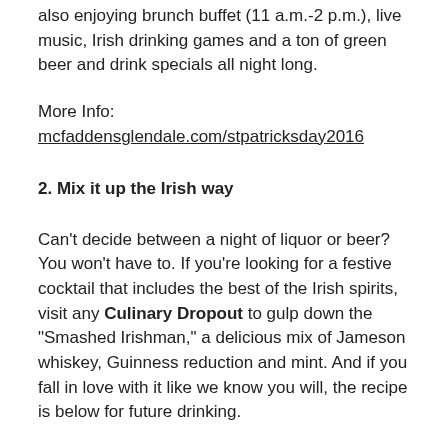also enjoying brunch buffet (11 a.m.-2 p.m.), live music, Irish drinking games and a ton of green beer and drink specials all night long.
More Info: mcfaddensglendale.com/stpatricksday2016
2. Mix it up the Irish way
Can't decide between a night of liquor or beer? You won't have to. If you're looking for a festive cocktail that includes the best of the Irish spirits, visit any Culinary Dropout to gulp down the “Smashed Irishman,” a delicious mix of Jameson whiskey, Guinness reduction and mint. And if you fall in love with it like we know you will, the recipe is below for future drinking.
Ingredients: